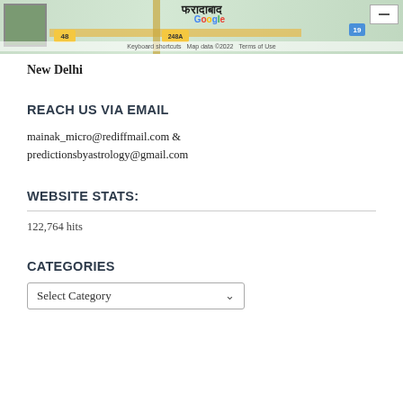[Figure (map): Google Maps screenshot showing area near Faridabad, New Delhi with Hindi text label फरादाबाद, road markers 48, 248A, 19, Google logo, keyboard shortcuts, map data 2022, terms of use footer]
New Delhi
REACH US VIA EMAIL
mainak_micro@rediffmail.com & predictionsbyastrology@gmail.com
WEBSITE STATS:
122,764 hits
CATEGORIES
Select Category